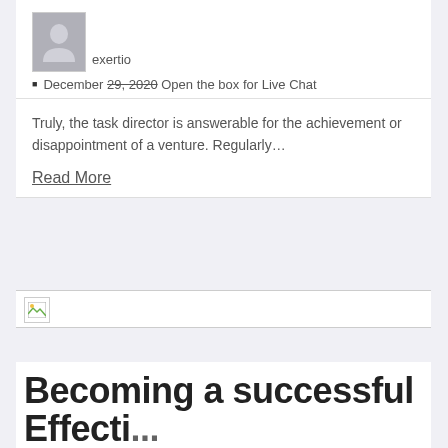[Figure (photo): User avatar placeholder with grey silhouette icon]
exertio
December 29, 2020  Open the box for Live Chat
Truly, the task director is answerable for the achievement or disappointment of a venture. Regularly…
Read More
[Figure (photo): Broken image placeholder thumbnail]
Becoming a successful Effective...